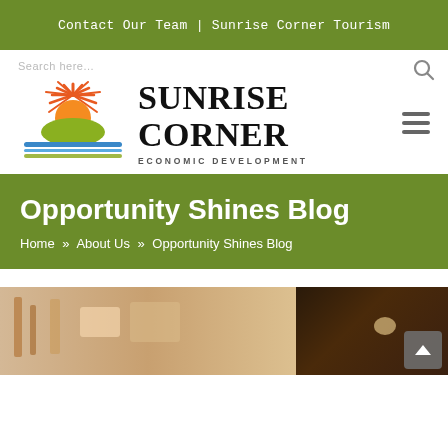Contact Our Team | Sunrise Corner Tourism
[Figure (logo): Sunrise Corner Economic Development logo with sun graphic and wordmark]
Opportunity Shines Blog
Home » About Us » Opportunity Shines Blog
[Figure (photo): Blurred background photo showing a shop or café interior scene, partially visible]